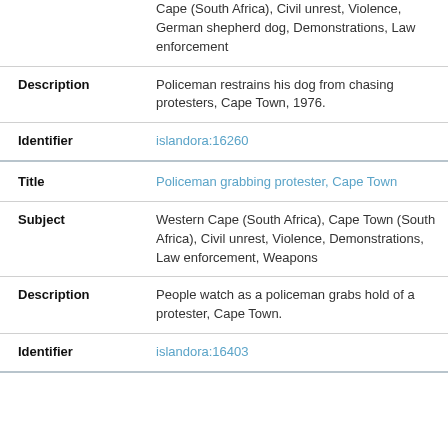|  | Cape (South Africa), Civil unrest, Violence, German shepherd dog, Demonstrations, Law enforcement |
| Description | Policeman restrains his dog from chasing protesters, Cape Town, 1976. |
| Identifier | islandora:16260 |
| Title | Policeman grabbing protester, Cape Town |
| Subject | Western Cape (South Africa), Cape Town (South Africa), Civil unrest, Violence, Demonstrations, Law enforcement, Weapons |
| Description | People watch as a policeman grabs hold of a protester, Cape Town. |
| Identifier | islandora:16403 |